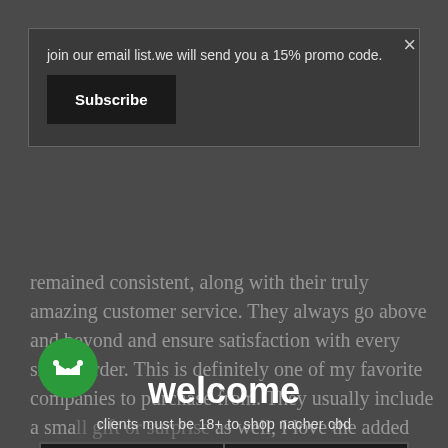join our email list.we will send you a 15% promo code.
Subscribe
×
remained consistent, along with their truly amazing customer service. They always go above and beyond and ensure satisfaction with every single order. This is definitely one of my favorite companies to purchase from. They usually include a small gift or surprise as well, I love the added surprise!
welcome
clients must be 18+ to shop nacher cbd
lets go.
exit.
I have been using the 1260 sublingual CBD for my dog the past 5 years or so and it has been amazing to watch the effects on my dog. She is 15 and has arthritis but it is a night and day difference when she's taking this oil vs not.
Highly recommend for humans and canines alike!